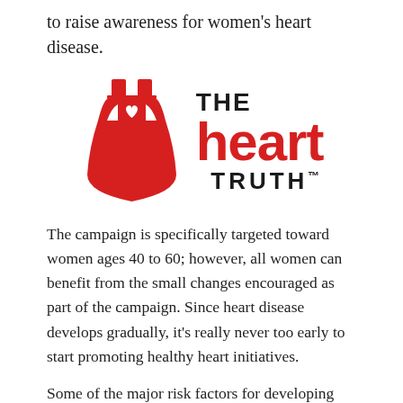to raise awareness for women's heart disease.
[Figure (logo): The Heart Truth campaign logo featuring a red dress silhouette with a white heart cutout, and bold text reading THE heart TRUTH™]
The campaign is specifically targeted toward women ages 40 to 60; however, all women can benefit from the small changes encouraged as part of the campaign. Since heart disease develops gradually, it's really never too early to start promoting healthy heart initiatives.
Some of the major risk factors for developing heart disease are obesity, physical inactivity, high blood pressure, high cholesterol, smoking, a family history of